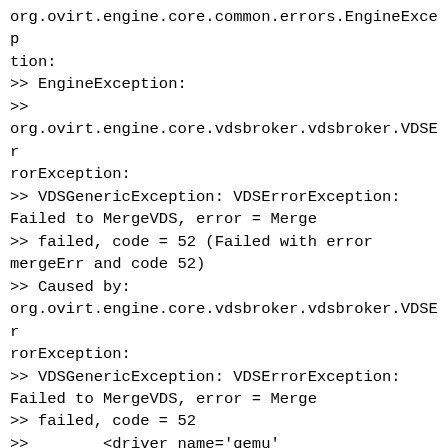org.ovirt.engine.core.common.errors.EngineException:
>> EngineException:
>>
org.ovirt.engine.core.vdsbroker.vdsbroker.VDSErrorException:
>> VDSGenericException: VDSErrorException: Failed to MergeVDS, error = Merge
>> failed, code = 52 (Failed with error mergeErr and code 52)
>> Caused by:
org.ovirt.engine.core.vdsbroker.vdsbroker.VDSErrorException:
>> VDSGenericException: VDSErrorException: Failed to MergeVDS, error = Merge
>> failed, code = 52
>>        <driver name='qemu' error_policy='report'/>
>>        <driver name='qemu' type='qcow2' cache='none' error_policy='stop'
>> io='threads'/>
>> 2020-07-22 16:40:39,659+02 ERROR
>>
[... snip ...MergeStatusCommand]